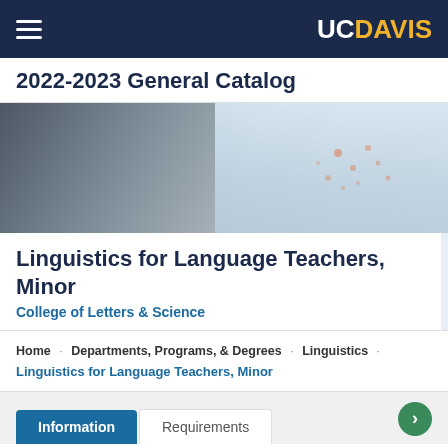UC DAVIS — 2022-2023 General Catalog navigation bar
2022-2023 General Catalog
[Figure (photo): A young man with dark hair and beard writing on or examining a map on a wall, wearing a plaid shirt.]
Linguistics for Language Teachers, Minor
College of Letters & Science
Home · Departments, Programs, & Degrees · Linguistics · Linguistics for Language Teachers, Minor
Information   Requirements